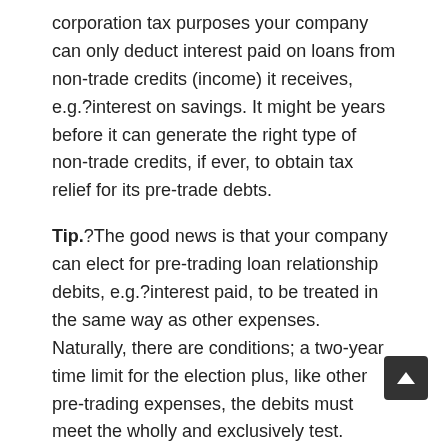corporation tax purposes your company can only deduct interest paid on loans from non-trade credits (income) it receives, e.g.?interest on savings. It might be years before it can generate the right type of non-trade credits, if ever, to obtain tax relief for its pre-trade debts.
Tip.?The good news is that your company can elect for pre-trading loan relationship debits, e.g.?interest paid, to be treated in the same way as other expenses. Naturally, there are conditions; a two-year time limit for the election plus, like other pre-trading expenses, the debits must meet the wholly and exclusively test.
The bottom line: As long as the business is run through a company and the amount is reasonable for the time you spend setting it up, it can pay you a salary and claim a tax deduction for it. The expense will, for tax purposes count as if it was incurred on the date it started to